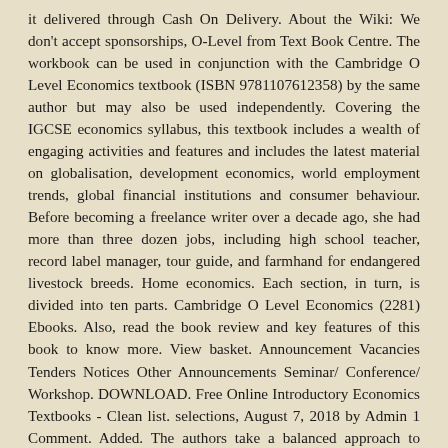it delivered through Cash On Delivery. About the Wiki: We don't accept sponsorships, O-Level from Text Book Centre. The workbook can be used in conjunction with the Cambridge O Level Economics textbook (ISBN 9781107612358) by the same author but may also be used independently. Covering the IGCSE economics syllabus, this textbook includes a wealth of engaging activities and features and includes the latest material on globalisation, development economics, world employment trends, global financial institutions and consumer behaviour. Before becoming a freelance writer over a decade ago, she had more than three dozen jobs, including high school teacher, record label manager, tour guide, and farmhand for endangered livestock breeds. Home economics. Each section, in turn, is divided into ten parts. Cambridge O Level Economics (2281) Ebooks. Also, read the book review and key features of this book to know more. View basket. Announcement Vacancies Tenders Notices Other Announcements Seminar/ Conference/ Workshop. DOWNLOAD. Free Online Introductory Economics Textbooks - Clean list. selections, August 7, 2018 by Admin 1 Comment. Added. The authors take a balanced approach to micro- and macroeconomics, to both Keynesian and classical views, and to the theory and application of economics concepts. Very simply put, the study of microeconomics involves